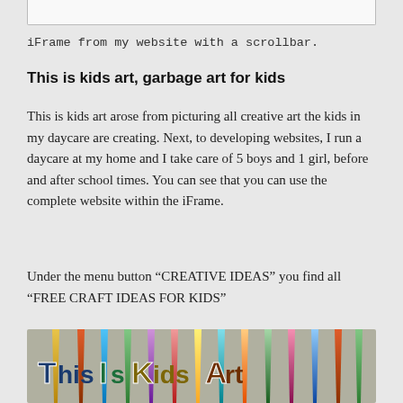[Figure (screenshot): Bottom edge of an iframe box with scrollbar, white background with grey border]
iFrame from my website with a scrollbar.
This is kids art, garbage art for kids
This is kids art arose from picturing all creative art the kids in my daycare are creating. Next, to developing websites, I run a daycare at my home and I take care of 5 boys and 1 girl, before and after school times. You can see that you can use the complete website within the iFrame.
Under the menu button “CREATIVE IDEAS” you find all “FREE CRAFT IDEAS FOR KIDS”
[Figure (photo): Banner image showing colorful pencils with 'This Is Kids Art' text overlay in colored cartoon-style letters]